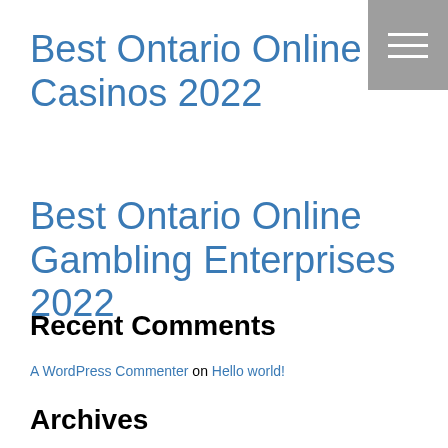Best Ontario Online Casinos 2022
Best Ontario Online Gambling Enterprises 2022
Recent Comments
A WordPress Commenter on Hello world!
Archives